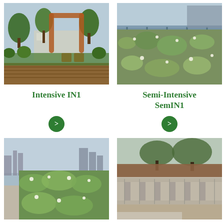[Figure (photo): Intensive green roof with wooden decking, orange chairs, rust-colored arch structure, trees and plants]
[Figure (photo): Semi-Intensive green roof with wildflowers and meadow planting, urban skyline and fence in background]
Intensive IN1
Semi-Intensive SemIN1
[Figure (other): Green circular arrow button]
[Figure (other): Green circular arrow button]
[Figure (photo): Roughton green roof with wildflower meadow planting, city skyline with towers visible in background]
[Figure (photo): Podium green roof under construction showing concrete structure with soil layer being installed, trees in background]
Roughton
Podium 1